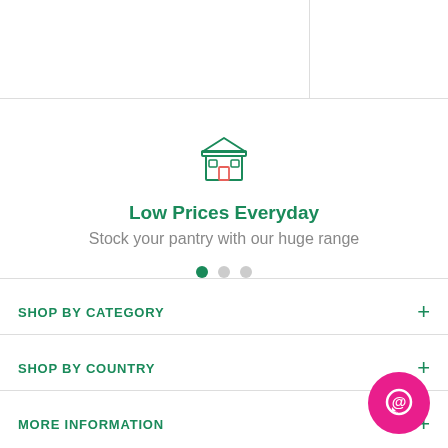In stock
[Figure (illustration): Store/shop icon outline in green]
Low Prices Everyday
Stock your pantry with our huge range
[Figure (other): Three pagination dots, first active (green), two inactive (grey)]
SHOP BY CATEGORY
SHOP BY COUNTRY
MORE INFORMATION
[Figure (illustration): Pink circular chat/messaging button with chat bubble icon]